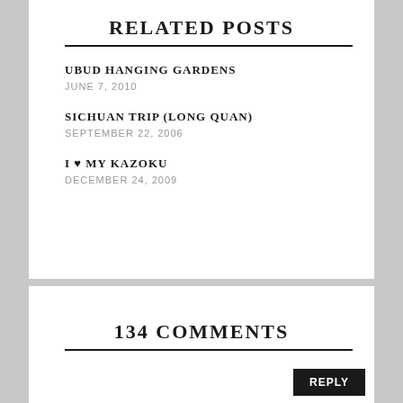RELATED POSTS
UBUD HANGING GARDENS
JUNE 7, 2010
SICHUAN TRIP (LONG QUAN)
SEPTEMBER 22, 2006
I ♥ MY KAZOKU
DECEMBER 24, 2009
134 COMMENTS
REPLY